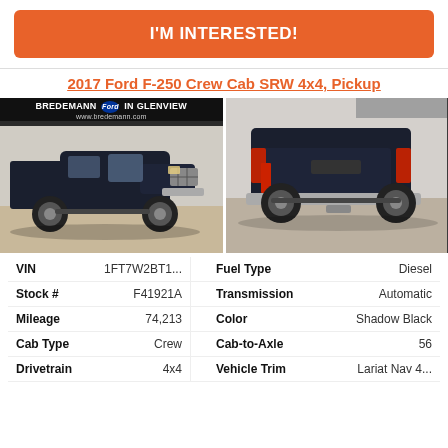I'M INTERESTED!
2017 Ford F-250 Crew Cab SRW 4x4, Pickup
[Figure (photo): Two photos of a 2017 Ford F-250 Crew Cab SRW 4x4 in Shadow Black. Left photo shows front-left view with Bredemann Ford In Glenview dealer banner. Right photo shows rear-right view of the truck.]
| Field | Value | Field | Value |
| --- | --- | --- | --- |
| VIN | 1FT7W2BT1... | Fuel Type | Diesel |
| Stock # | F41921A | Transmission | Automatic |
| Mileage | 74,213 | Color | Shadow Black |
| Cab Type | Crew | Cab-to-Axle | 56 |
| Drivetrain | 4x4 | Vehicle Trim | Lariat Nav 4... |